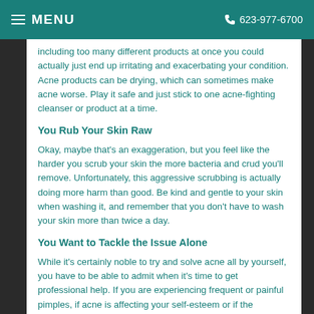MENU   623-977-6700
including too many different products at once you could actually just end up irritating and exacerbating your condition. Acne products can be drying, which can sometimes make acne worse. Play it safe and just stick to one acne-fighting cleanser or product at a time.
You Rub Your Skin Raw
Okay, maybe that's an exaggeration, but you feel like the harder you scrub your skin the more bacteria and crud you'll remove. Unfortunately, this aggressive scrubbing is actually doing more harm than good. Be kind and gentle to your skin when washing it, and remember that you don't have to wash your skin more than twice a day.
You Want to Tackle the Issue Alone
While it's certainly noble to try and solve acne all by yourself, you have to be able to admit when it's time to get professional help. If you are experiencing frequent or painful pimples, if acne is affecting your self-esteem or if the treatments you are using just aren't working, then it's